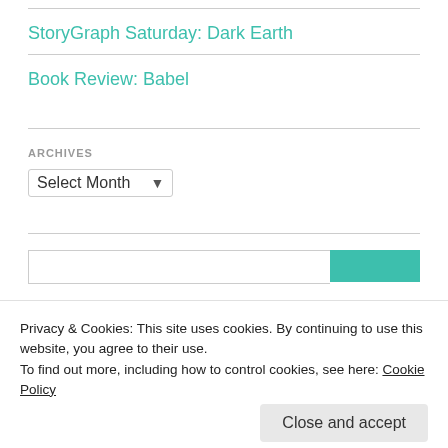StoryGraph Saturday: Dark Earth
Book Review: Babel
ARCHIVES
Select Month
Privacy & Cookies: This site uses cookies. By continuing to use this website, you agree to their use.
To find out more, including how to control cookies, see here: Cookie Policy
Close and accept
Killers of a Certain Age